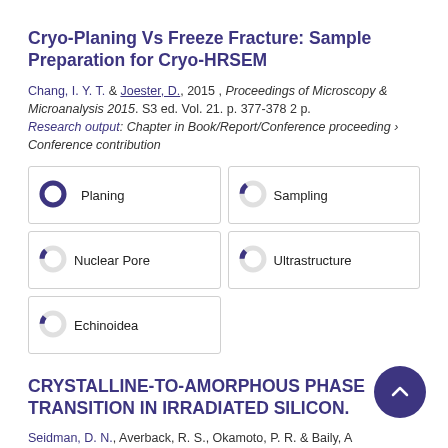Cryo-Planing Vs Freeze Fracture: Sample Preparation for Cryo-HRSEM
Chang, I. Y. T. & Joester, D., 2015, Proceedings of Microscopy & Microanalysis 2015. S3 ed. Vol. 21. p. 377-378 2 p.
Research output: Chapter in Book/Report/Conference proceeding › Conference contribution
Planing
Sampling
Nuclear Pore
Ultrastructure
Echinoidea
CRYSTALLINE-TO-AMORPHOUS PHASE TRANSITION IN IRRADIATED SILICON.
Seidman, D. N., Averback, R. S., Okamoto, P. R. & Baily, A Dec 1 1986, Materials Research Society Symposia Proceedings. Materials Research Soc, Vol. 51. p. 349-355 7 p.
Research output: Chapter in Book/Report/Conference proceeding › Conference contribution